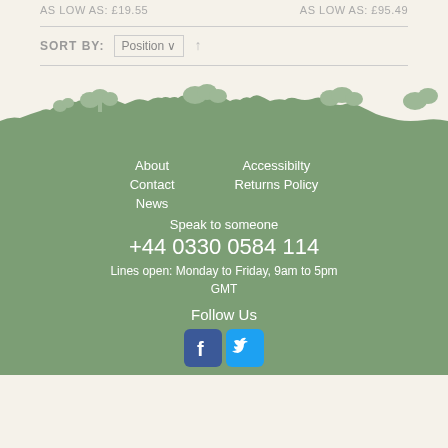AS LOW AS: £19.55    AS LOW AS: £95.49
SORT BY: Position ↑
[Figure (illustration): Green landscape silhouette with trees and mushrooms]
About  Accessibilty  Contact  Returns Policy  News
Speak to someone
+44 0330 0584 114
Lines open: Monday to Friday, 9am to 5pm GMT
Follow Us
[Figure (logo): Facebook and Twitter social media icons]